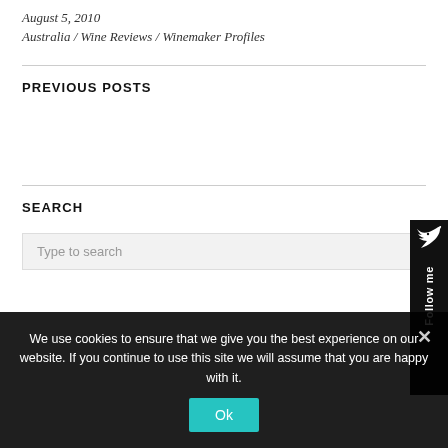August 5, 2010
Australia / Wine Reviews / Winemaker Profiles
PREVIOUS POSTS
SEARCH
Type to search
[Figure (illustration): Follow me social widget on right side with bird icon and vertical 'Follow me' text on black background]
We use cookies to ensure that we give you the best experience on our website. If you continue to use this site we will assume that you are happy with it.
Ok